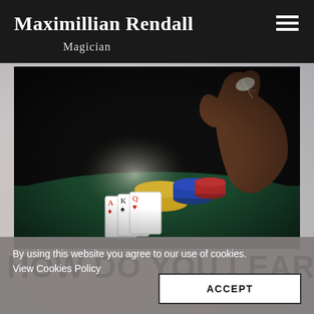Maximillian Rendall — Magician
[Figure (photo): A hand holding a coin or card above a table with casino poker chips and playing cards on a green felt surface, shot in low-key dramatic lighting.]
HOW DO YOU LEARN
By using this website you agree to our use of cookies. View Cookies Policy
ACCEPT